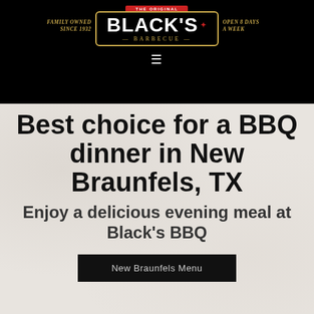[Figure (logo): Black's Barbecue logo with 'The Original' banner in red at top, 'Black's' in large white text, 'Barbecue' in gold below, inside a gold-bordered badge. Left side reads 'Family Owned Since 1932', right side reads 'Open 8 Days A Week', all on black background.]
Best choice for a BBQ dinner in New Braunfels, TX
Enjoy a delicious evening meal at Black's BBQ
New Braunfels Menu